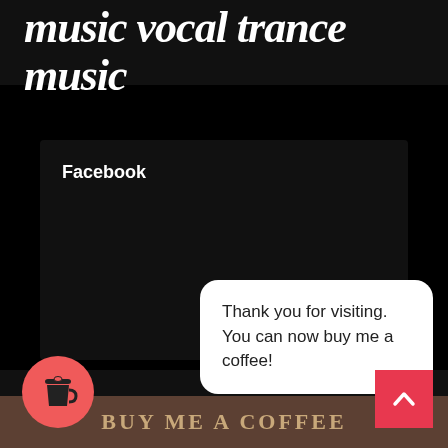music vocal trance music
Facebook
Thank you for visiting. You can now buy me a coffee!
[Figure (illustration): Circular salmon-pink coffee cup icon button]
[Figure (illustration): Red back-to-top arrow button]
BUY ME A COFFEE